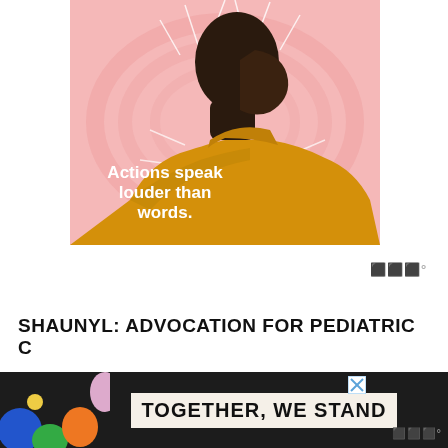[Figure (illustration): Advertisement illustration showing a side-profile of a Black man in a yellow turtleneck sweater against a pink background with swirling wave patterns. White text on the back reads 'Actions speak louder than words.' A small X close button is in the top right corner.]
SHAUNYL: ADVOCATION FOR PEDIATRIC C
[Figure (illustration): Bottom banner advertisement with dark background showing 'TOGETHER, WE STAND' text in large bold font. Left side has colorful illustrated shapes in blue, green, orange, and pink. A small X close button appears on the right side. Moat icon shown at bottom right.]